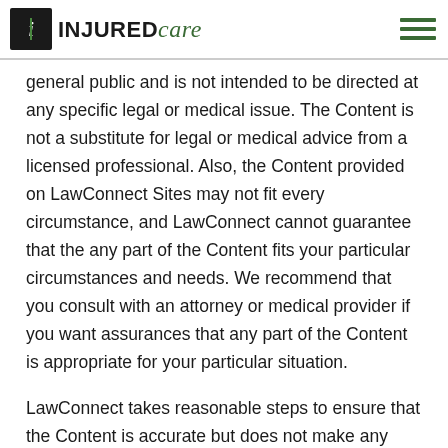INJURED care
general public and is not intended to be directed at any specific legal or medical issue. The Content is not a substitute for legal or medical advice from a licensed professional. Also, the Content provided on LawConnect Sites may not fit every circumstance, and LawConnect cannot guarantee that the any part of the Content fits your particular circumstances and needs. We recommend that you consult with an attorney or medical provider if you want assurances that any part of the Content is appropriate for your particular situation.
LawConnect takes reasonable steps to ensure that the Content is accurate but does not make any guarantee as